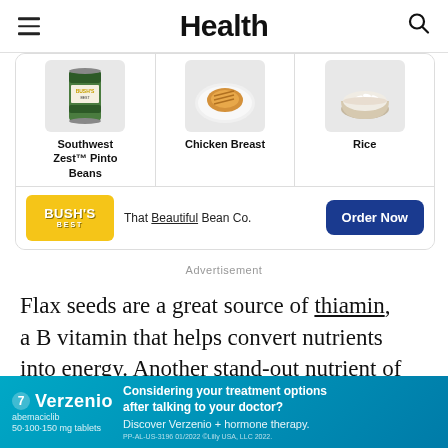Health
[Figure (infographic): Bush's Best beans advertisement showing three food products: Southwest Zest Pinto Beans, Chicken Breast, and Rice, with Bush's Best logo, tagline 'That Beautiful Bean Co.' and an Order Now button]
Advertisement
Flax seeds are a great source of thiamin, a B vitamin that helps convert nutrients into energy. Another stand-out nutrient of flax seed is magnesium, which is important for nerve,
[Figure (infographic): Verzenio (abemaciclib) pharmaceutical advertisement with teal background. Text reads: Considering your treatment options after talking to your doctor? Discover Verzenio + hormone therapy. PP-AL-US-3196 01/2022 Eli Lilly USA, LLC 2022.]